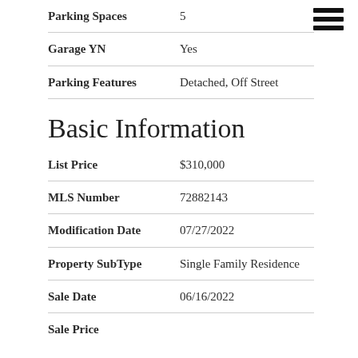| Field | Value |
| --- | --- |
| Parking Spaces | 5 |
| Garage YN | Yes |
| Parking Features | Detached, Off Street |
Basic Information
| Field | Value |
| --- | --- |
| List Price | $310,000 |
| MLS Number | 72882143 |
| Modification Date | 07/27/2022 |
| Property SubType | Single Family Residence |
| Sale Date | 06/16/2022 |
| Sale Price |  |